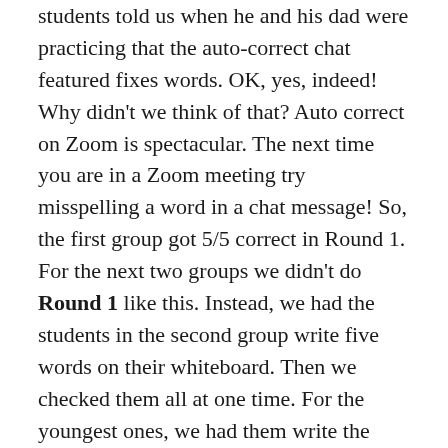students told us when he and his dad were practicing that the auto-correct chat featured fixes words. OK, yes, indeed! Why didn't we think of that? Auto correct on Zoom is spectacular. The next time you are in a Zoom meeting try misspelling a word in a chat message! So, the first group got 5/5 correct in Round 1. For the next two groups we didn't do Round 1 like this. Instead, we had the students in the second group write five words on their whiteboard. Then we checked them all at one time. For the youngest ones, we had them write the words one at a time.
Then we did Round 2, which was spelling on the whiteboards with fewer, harder, and higher-point-value words. Last time I wrote about the spelling bee, Melody Parker suggested the students show their whole body, which we kind of did. We'd have